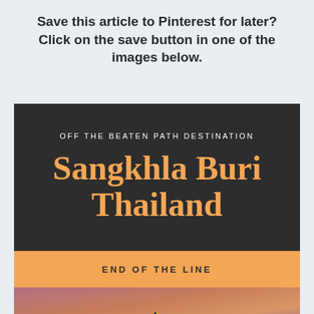Save this article to Pinterest for later? Click on the save button in one of the images below.
[Figure (infographic): Pinterest save card for travel article about Sangkhla Buri Thailand. Dark background with orange title text reading 'Sangkhla Buri Thailand', subtitle 'OFF THE BEATEN PATH DESTINATION', orange banner with 'END OF THE LINE', and a photo of silhouetted people on a bridge at sunset.]